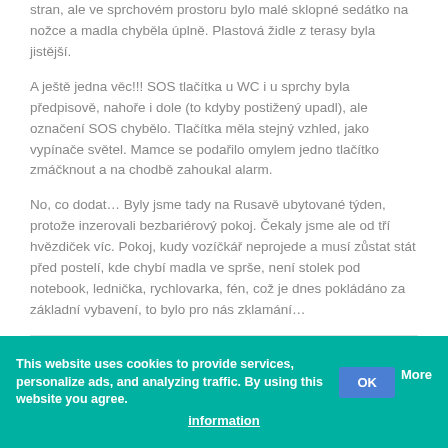stran, ale ve sprchovém prostoru bylo malé sklopné sedátko na nožce a madla chyběla úplně. Plastová židle z terasy byla jistější.
A ještě jedna věc!!! SOS tlačítka u WC i u sprchy byla předpisově, nahoře i dole (to kdyby postižený upadl), ale označení SOS chybělo. Tlačítka měla stejný vzhled, jako vypínače světel. Mamce se podařilo omylem jedno tlačítko zmáčknout a na chodbě zahoukal alarm.
No, co dodat… Byly jsme tady na Rusavě ubytované týden, protože inzerovali bezbariérový pokoj. Čekaly jsme ale od tří hvězdiček víc. Pokoj, kudy vozíčkář neprojede a musí zůstat stát před postelí, kde chybí madla ve sprše, není stolek pod notebook, lednička, rychlovarka, fén, což je dnes pokládáno za základní vybavení, to bylo pro nás zklamání…
Text was translated from Czech.
This website uses cookies to provide services, personalize ads, and analyzing traffic. By using this website you agree. OK More information